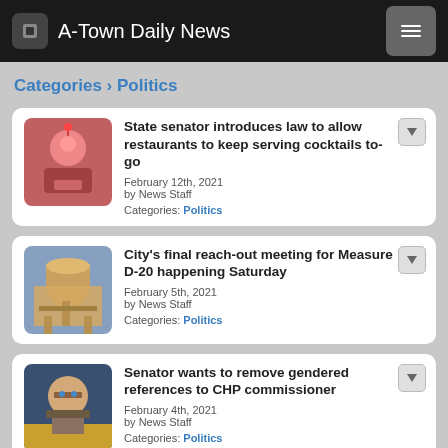A-Town Daily News
Categories › Politics
State senator introduces law to allow restaurants to keep serving cocktails to-go
February 12th, 2021
by News Staff
Categories: Politics
City's final reach-out meeting for Measure D-20 happening Saturday
February 5th, 2021
by News Staff
Categories: Politics
Senator wants to remove gendered references to CHP commissioner
February 4th, 2021
by News Staff
Categories: Politics